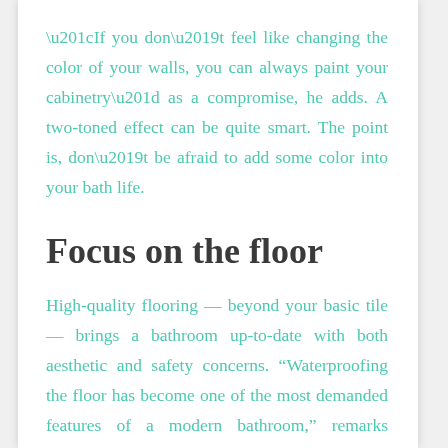“If you don’t feel like changing the color of your walls, you can always paint your cabinetry” as a compromise, he adds. A two-toned effect can be quite smart. The point is, don’t be afraid to add some color into your bath life.
Focus on the floor
High-quality flooring — beyond your basic tile — brings a bathroom up-to-date with both aesthetic and safety concerns. “Waterproofing the floor has become one of the most demanded features of a modern bathroom,” remarks Wysocarski. “It improves the property value and reduces the risk of injuries due to the slippery”